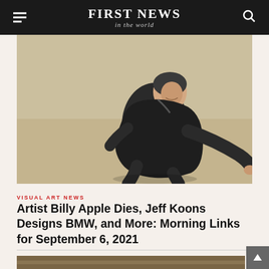FIRST NEWS in the world
[Figure (photo): A person crouching or kneeling on a sandy/beige floor, wearing a dark jacket, photographed from above at an angle]
VISUAL ART NEWS
Artist Billy Apple Dies, Jeff Koons Designs BMW, and More: Morning Links for September 6, 2021
[Figure (photo): Partial view of another image at the bottom of the page]